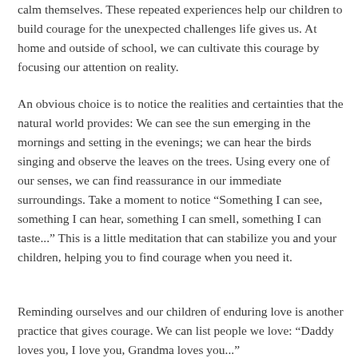calm themselves. These repeated experiences help our children to build courage for the unexpected challenges life gives us. At home and outside of school, we can cultivate this courage by focusing our attention on reality.
An obvious choice is to notice the realities and certainties that the natural world provides: We can see the sun emerging in the mornings and setting in the evenings; we can hear the birds singing and observe the leaves on the trees. Using every one of our senses, we can find reassurance in our immediate surroundings. Take a moment to notice “Something I can see, something I can hear, something I can smell, something I can taste...” This is a little meditation that can stabilize you and your children, helping you to find courage when you need it.
Reminding ourselves and our children of enduring love is another practice that gives courage. We can list people we love: “Daddy loves you, I love you, Grandma loves you...”